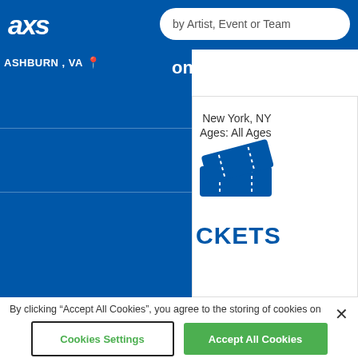[Figure (screenshot): AXS ticketing website header with logo and search bar, blue navigation, location ASHBURN VA, event listing for Bronx Slang in New York NY All Ages, ticket icon, and cookie consent banner with Cookies Settings and Accept All Cookies buttons]
By clicking “Accept All Cookies”, you agree to the storing of cookies on your device to enhance site navigation, analyze site usage, and assist in our marketing efforts.
Cookies Settings
Accept All Cookies